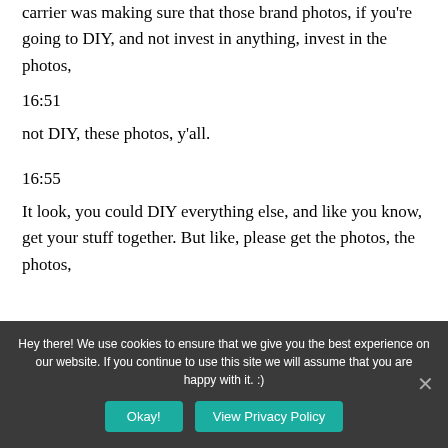carrier was making sure that those brand photos, if you're going to DIY, and not invest in anything, invest in the photos,
16:51
not DIY, these photos, y'all.
16:55
It look, you could DIY everything else, and like you know, get your stuff together. But like, please get the photos, the photos,
Hey there! We use cookies to ensure that we give you the best experience on our website. If you continue to use this site we will assume that you are happy with it. :)